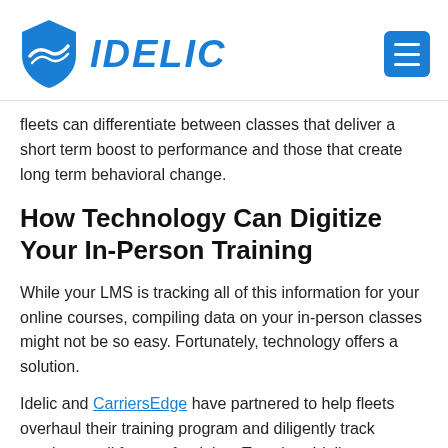IDELIC
fleets can differentiate between classes that deliver a short term boost to performance and those that create long term behavioral change.
How Technology Can Digitize Your In-Person Training
While your LMS is tracking all of this information for your online courses, compiling data on your in-person classes might not be so easy. Fortunately, technology offers a solution.
Idelic and CarriersEdge have partnered to help fleets overhaul their training program and diligently track metrics on all forms of training. Together, Idelic